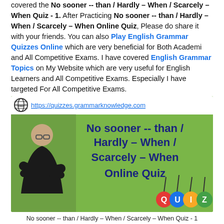covered the No sooner -- than / Hardly – When / Scarcely – When Quiz - 1. After Practicing No sooner -- than / Hardly – When / Scarcely – When Online Quiz, Please do share it with your friends. You can also Play English Grammar Quizzes Online which are very beneficial for Both Academi and All Competitive Exams. I have covered English Grammar Topics on My Website which are very useful for English Learners and All Competitive Exams. Especially I have targeted For All Competitive Exams.
[Figure (infographic): Green banner with URL https://quizzes.grammarknowledge.com and bold navy text 'No sooner -- than / Hardly – When / Scarcely – When Online Quiz' with a man in black jacket and colorful QUIZ speech bubbles at bottom right]
No sooner -- than / Hardly – When / Scarcely – When Quiz - 1